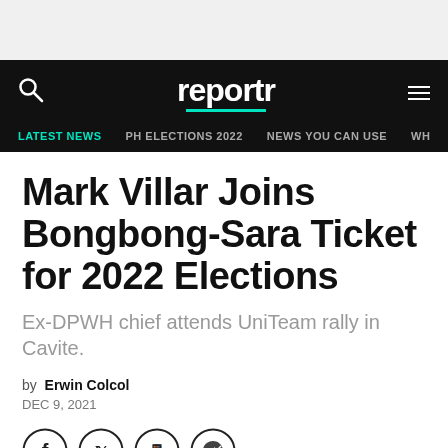reportr
LATEST NEWS  PH ELECTIONS 2022  NEWS YOU CAN USE  WH
Mark Villar Joins Bongbong-Sara Ticket for 2022 Elections
Ex-DPWH chief attends UniTeam rally in Cavite.
by Erwin Colcol
DEC 9, 2021
[Figure (other): Social media share icons: Facebook, Twitter, WhatsApp, Messenger]